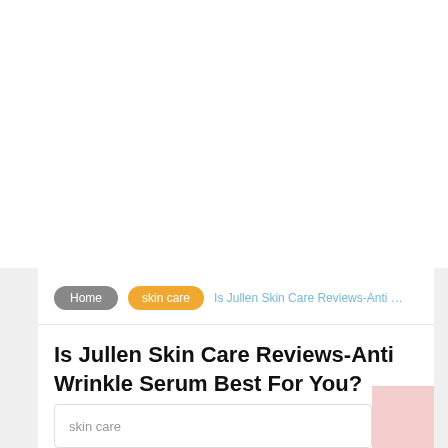Home  skin care  Is Jullen Skin Care Reviews-Anti ...
Is Jullen Skin Care Reviews-Anti Wrinkle Serum Best For You?
skin care